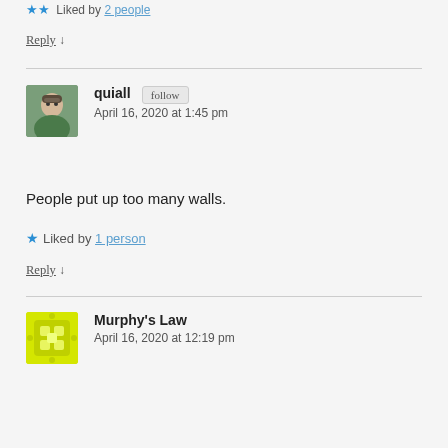Liked by 2 people
Reply ↓
quiall — April 16, 2020 at 1:45 pm
People put up too many walls.
★ Liked by 1 person
Reply ↓
Murphy's Law — April 16, 2020 at 12:19 pm